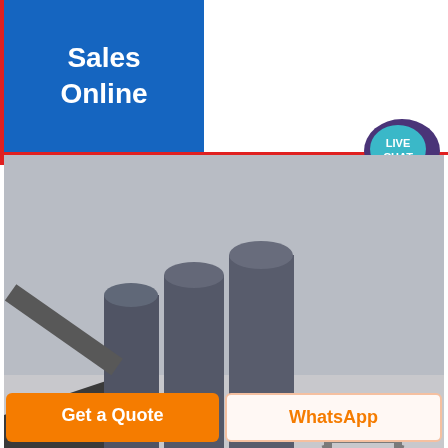Sales Online
[Figure (illustration): Live Chat speech bubble icon with purple chat bubble graphic, text reads LIVE CHAT]
[Figure (photo): Industrial facility showing large grey cylindrical silos, metal pipe networks, conveyor systems, and structural steel framework against a hazy sky]
Get a Quote
WhatsApp